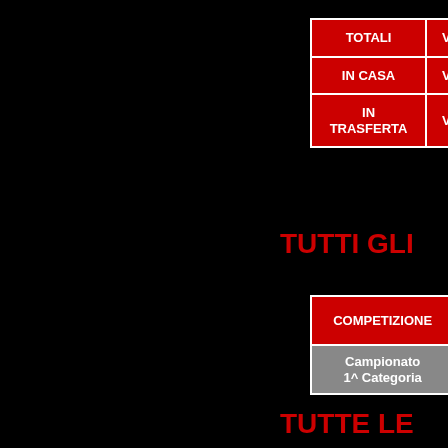| TOTALI | VITTORI... |
| --- | --- |
| IN CASA | VITTORI... |
| IN TRASFERTA | VITTORI... |
TUTTI GLI
| COMPETIZIONE | DA ESC... |
| --- | --- |
| Campionato 1^ Categoria | 13/0... |
TUTTE LE